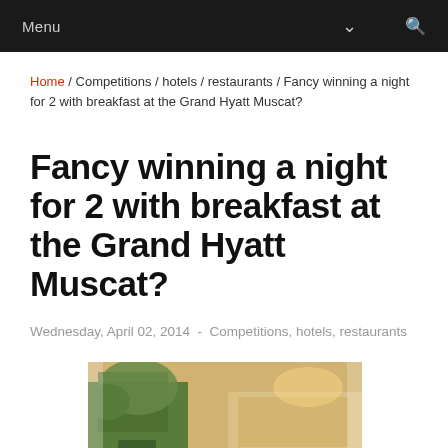Menu
Home / Competitions / hotels / restaurants / Fancy winning a night for 2 with breakfast at the Grand Hyatt Muscat?
Fancy winning a night for 2 with breakfast at the Grand Hyatt Muscat?
Wednesday, April 02, 2014  -  Competitions, hotels, restaurants
[Figure (photo): Interior restaurant photo showing wooden dining tables with green upholstered chairs in an elegant hotel restaurant setting with warm lighting]